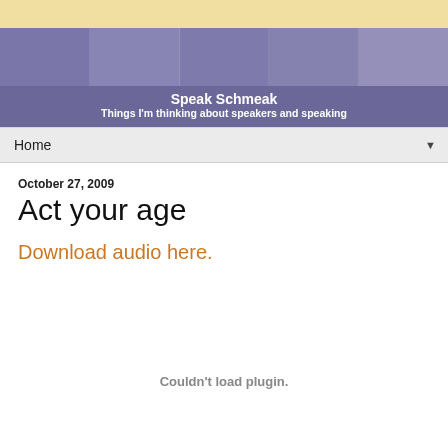[Figure (photo): Blog header with collage of people photos with purple/violet overlay, showing Speak Schmeak blog branding]
Speak Schmeak
Things I'm thinking about speakers and speaking
Home ▼
October 27, 2009
Act your age
Download audio here.
Couldn't load plugin.